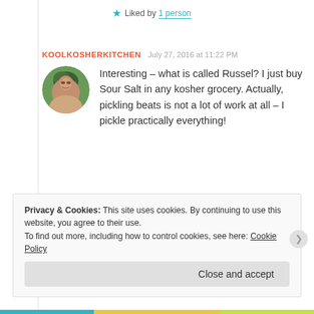★ Liked by 1 person
KOOLKOSHERKITCHEN  July 27, 2016 at 11:22 PM
[Figure (photo): Round avatar photo of a woman with dark hair, smiling, in an outdoor setting with greenery.]
Interesting – what is called Russel? I just buy Sour Salt in any kosher grocery. Actually, pickling beats is not a lot of work at all – I pickle practically everything!
★ Liked by 1 person
Privacy & Cookies: This site uses cookies. By continuing to use this website, you agree to their use.
To find out more, including how to control cookies, see here: Cookie Policy
Close and accept